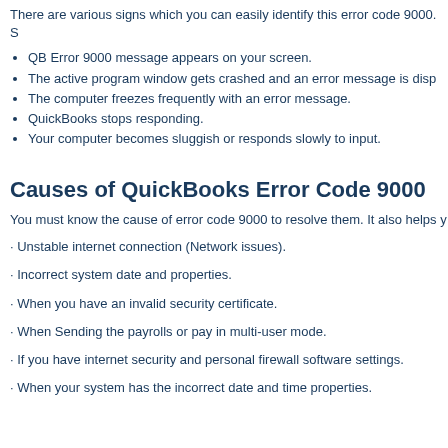There are various signs which you can easily identify this error code 9000. S
QB Error 9000 message appears on your screen.
The active program window gets crashed and an error message is disp
The computer freezes frequently with an error message.
QuickBooks stops responding.
Your computer becomes sluggish or responds slowly to input.
Causes of QuickBooks Error Code 9000
You must know the cause of error code 9000 to resolve them. It also helps y
· Unstable internet connection (Network issues).
· Incorrect system date and properties.
· When you have an invalid security certificate.
· When Sending the payrolls or pay in multi-user mode.
· If you have internet security and personal firewall software settings.
· When your system has the incorrect date and time properties.